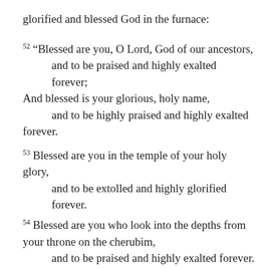glorified and blessed God in the furnace:
52 “Blessed are you, O Lord, God of our ancestors,
    and to be praised and highly exalted forever;
And blessed is your glorious, holy name,
    and to be highly praised and highly exalted forever.
53 Blessed are you in the temple of your holy glory,
    and to be extolled and highly glorified forever.
54 Blessed are you who look into the depths from your throne on the cherubim,
    and to be praised and highly exalted forever.
55 Blessed are you on the throne of your kingdom,
    and to be extolled and highly exalted forever.
56 Blessed are you in the firmament of heaven,